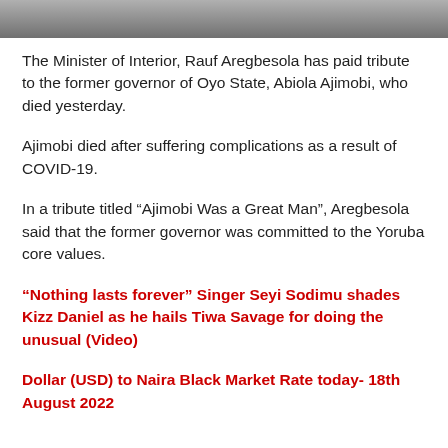[Figure (photo): Photo bar at top of page — grayscale image strip showing partial figures]
The Minister of Interior, Rauf Aregbesola has paid tribute to the former governor of Oyo State, Abiola Ajimobi, who died yesterday.
Ajimobi died after suffering complications as a result of COVID-19.
In a tribute titled “Ajimobi Was a Great Man”, Aregbesola said that the former governor was committed to the Yoruba core values.
“Nothing lasts forever” Singer Seyi Sodimu shades Kizz Daniel as he hails Tiwa Savage for doing the unusual (Video)
Dollar (USD) to Naira Black Market Rate today- 18th August 2022